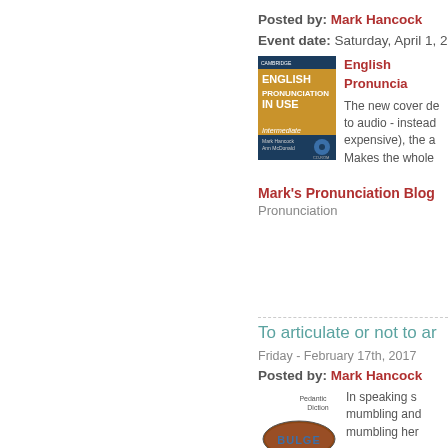Posted by: Mark Hancock
Event date: Saturday, April 1, 2
[Figure (illustration): Book cover: English Pronunciation In Use, Intermediate, Cambridge University Press]
English Pronuncia... The new cover de... to audio - instead... expensive), the a... Makes the whole...
Mark's Pronunciation Blog
Pronunciation
To articulate or not to ar...
Friday - February 17th, 2017
Posted by: Mark Hancock
[Figure (illustration): Diagram showing a bulge shape with labels: Pedantic Diction, Sloppy Mumbling, Bulge]
In speaking s... mumbling and... mumbling her...